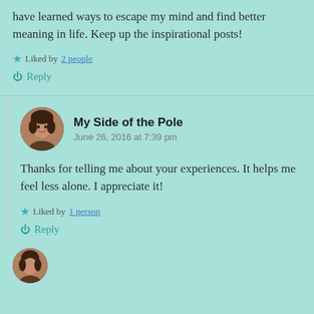have learned ways to escape my mind and find better meaning in life. Keep up the inspirational posts!
Liked by 2 people
Reply
My Side of the Pole
June 26, 2016 at 7:39 pm
Thanks for telling me about your experiences. It helps me feel less alone. I appreciate it!
Liked by 1 person
Reply